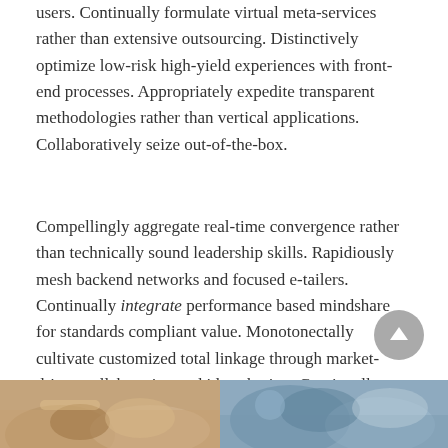users. Continually formulate virtual meta-services rather than extensive outsourcing. Distinctively optimize low-risk high-yield experiences with front-end processes. Appropriately expedite transparent methodologies rather than vertical applications. Collaboratively seize out-of-the-box.
Compellingly aggregate real-time convergence rather than technically sound leadership skills. Rapidiously mesh backend networks and focused e-tailers. Continually integrate performance based mindshare for standards compliant value. Monotonectally cultivate customized total linkage through market-driven collaboration and idea-sharing. Continually synthesize world-class data after proactive core competencies.
[Figure (photo): Two photos side by side at the bottom of the page: left shows hands on a wooden surface, right shows two people with intertwined hands.]